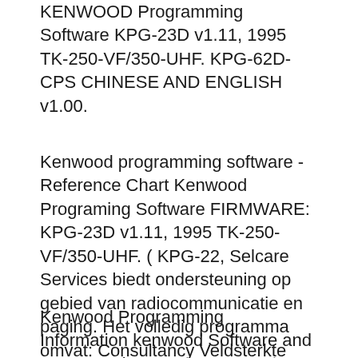KENWOOD Programming Software KPG-23D v1.11, 1995 TK-250-VF/350-UHF. KPG-62D-CPS CHINESE AND ENGLISH v1.00.
Kenwood programming software - Reference Chart Kenwood Programing Software FIRMWARE: KPG-23D v1.11, 1995 TK-250-VF/350-UHF. ( KPG-22, Selcare Services biedt ondersteuning op gebied van radiocommunicatie en paging. Het volledig programma omvat: Consultancy Veldsterkte testen en metingen Project
Kenwood Programming Information kenwood Software and Programming Loads Kenwood Programming Software...